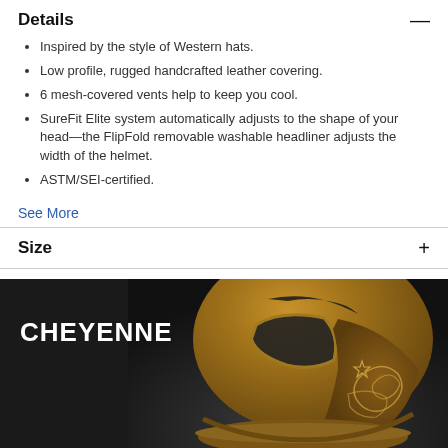Details
Inspired by the style of Western hats.
Low profile, rugged handcrafted leather covering.
6 mesh-covered vents help to keep you cool.
SureFit Elite system automatically adjusts to the shape of your head—the FlipFold removable washable headliner adjusts the width of the helmet.
ASTM/SEI-certified.
See More
Size
[Figure (photo): A brown leather equestrian helmet with mesh ventilation panels and decorative stitching, displayed against a dark background. The text 'CHEYENNE' appears in white on the left side.]